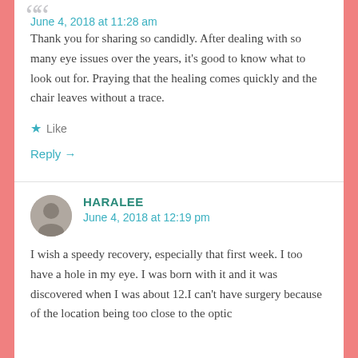June 4, 2018 at 11:28 am
Thank you for sharing so candidly. After dealing with so many eye issues over the years, it's good to know what to look out for. Praying that the healing comes quickly and the chair leaves without a trace.
Like
Reply →
HARALEE
June 4, 2018 at 12:19 pm
I wish a speedy recovery, especially that first week. I too have a hole in my eye. I was born with it and it was discovered when I was about 12.I can't have surgery because of the location being too close to the optic